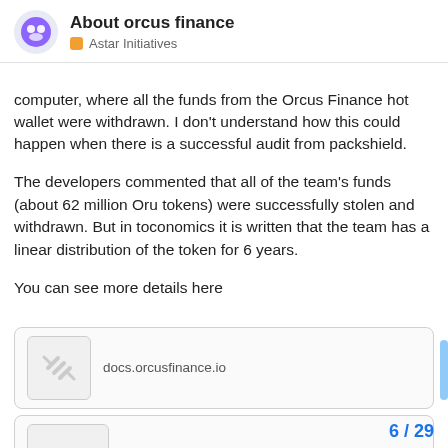About orcus finance — Astar Initiatives
computer, where all the funds from the Orcus Finance hot wallet were withdrawn. I don't understand how this could happen when there is a successful audit from packshield.
The developers commented that all of the team's funds (about 62 million Oru tokens) were successfully stolen and withdrawn. But in toconomics it is written that the team has a linear distribution of the token for 6 years.
You can see more details here
[Figure (screenshot): Link card preview showing docs.orcusfinance.io with a broken image icon]
[Figure (screenshot): Second link card with broken image icon and $ORU tag with count 4]
6 / 29